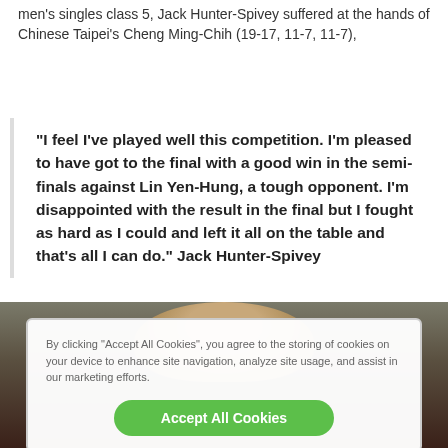men's singles class 5, Jack Hunter-Spivey suffered at the hands of Chinese Taipei's Cheng Ming-Chih (19-17, 11-7, 11-7),
"I feel I've played well this competition. I'm pleased to have got to the final with a good win in the semi-finals against Lin Yen-Hung, a tough opponent. I'm disappointed with the result in the final but I fought as hard as I could and left it all on the table and that's all I can do." Jack Hunter-Spivey
[Figure (photo): Photo of a person (Jack Hunter-Spivey) partially visible behind a cookie consent dialog overlay]
By clicking "Accept All Cookies", you agree to the storing of cookies on your device to enhance site navigation, analyze site usage, and assist in our marketing efforts.
Accept All Cookies